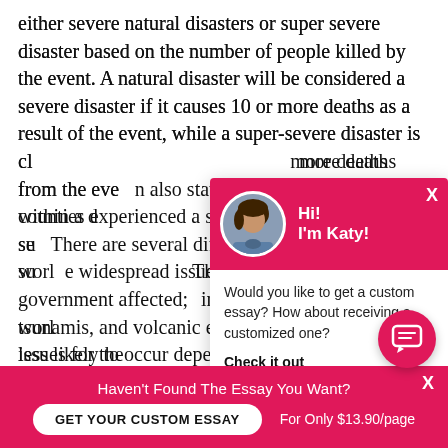either severe natural disasters or super severe disaster based on the number of people killed by the event. A natural disaster will be considered a severe disaster if it causes 10 or more deaths as a result of the event, while a super-severe disaster is classified by having caused 100 or more deaths from the event. The same source also states that within a disaster, different counties experienced a severe disaster and other counties experienced a super severe disaster. There are several different types of natural disasters that can occur across the world. These disasters can create widespread issues for the people and communities and the government affected; some natural disasters include: earthquakes, widdfires, hurricanes, floods, tsunamis, and volcanic eruptions. However, certain disasters are more or less likely to occur depending
[Figure (screenshot): Chat popup overlay with pink/magenta header showing avatar of a woman and greeting 'Hi! I'm Katy!' with body text 'Would you like to get a custom essay? How about receiving a customized one?' and a 'Check it out' link.]
[Figure (screenshot): Pink floating chat bubble button (FAB) with speech bubble icon, positioned bottom right.]
[Figure (screenshot): Pink/magenta bottom promotional bar: "Haven't Found The Essay You Want?" with 'GET YOUR CUSTOM ESSAY' button and 'For Only $13.90/page' text and X close button.]